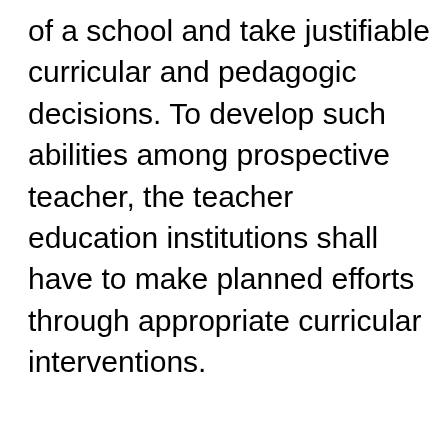of a school and take justifiable curricular and pedagogic decisions. To develop such abilities among prospective teacher, the teacher education institutions shall have to make planned efforts through appropriate curricular interventions.